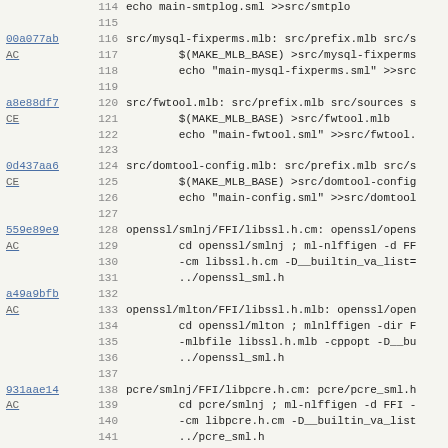Code listing with commit hashes, line numbers, and source code lines 114-146
| hash/tag | line | code |
| --- | --- | --- |
|  | 114 | echo  main-smtplog.sml  >>src/smtplo |
|  | 115 |  |
| 00a077ab AC | 116 | src/mysql-fixperms.mlb: src/prefix.mlb src/s |
|  | 117 | 	$(MAKE_MLB_BASE) >src/mysql-fixperms |
|  | 118 | 	echo "main-mysql-fixperms.sml" >>src |
|  | 119 |  |
| a8e88df7 CE | 120 | src/fwtool.mlb: src/prefix.mlb src/sources s |
|  | 121 | 	$(MAKE_MLB_BASE) >src/fwtool.mlb |
|  | 122 | 	echo "main-fwtool.sml" >>src/fwtool. |
|  | 123 |  |
| 0d437aa6 CE | 124 | src/domtool-config.mlb: src/prefix.mlb src/s |
|  | 125 | 	$(MAKE_MLB_BASE) >src/domtool-config |
|  | 126 | 	echo "main-config.sml" >>src/domtool |
|  | 127 |  |
| 559e89e9 AC | 128 | openssl/smlnj/FFI/libssl.h.cm: openssl/opens |
|  | 129 | 	cd openssl/smlnj ; ml-nlffigen -d FF |
|  | 130 | 	-cm libssl.h.cm -D__builtin_va_list= |
|  | 131 | 	../openssl_sml.h |
| a49a9bfb AC | 132 |  |
|  | 133 | openssl/mlton/FFI/libssl.h.mlb: openssl/open |
|  | 134 | 	cd openssl/mlton ; mlnlffigen -dir F |
|  | 135 | 	-mlbfile libssl.h.mlb -cppopt -D__bu |
|  | 136 | 	../openssl_sml.h |
|  | 137 |  |
| 931aae14 AC | 138 | pcre/smlnj/FFI/libpcre.h.cm: pcre/pcre_sml.h |
|  | 139 | 	cd pcre/smlnj ; ml-nlffigen -d FFI - |
|  | 140 | 	-cm libpcre.h.cm -D__builtin_va_list |
|  | 141 | 	../pcre_sml.h |
|  | 142 |  |
|  | 143 | pcre/mlton/FFI/libpcre.h.mlb: pcre/pcre_sml. |
|  | 144 | 	cd pcre/mlton ; mlnlffigen -dir FFI |
|  | 145 | 	-mlbfile libpcre.h.mlb -cppopt -D__b |
|  | 146 | 	../pcre_sml.h |